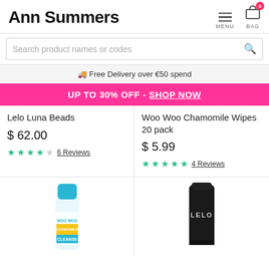Ann Summers
MENU
BAG 0
Search product names or codes
🚚 Free Delivery over €50 spend
UP TO 30% OFF - SHOP NOW
Lelo Luna Beads
$ 62.00
6 Reviews
Woo Woo Chamomile Wipes 20 pack
$ 5.99
4 Reviews
[Figure (photo): Woo Woo Chamomile Cleanse bottle product image]
[Figure (photo): LELO black tube product image]